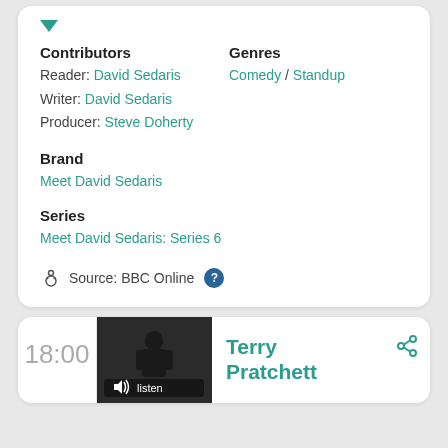Contributors
Genres
Reader: David Sedaris
Comedy / Standup
Writer: David Sedaris
Producer: Steve Doherty
Brand
Meet David Sedaris
Series
Meet David Sedaris: Series 6
Source: BBC Online
18:00
Terry Pratchett